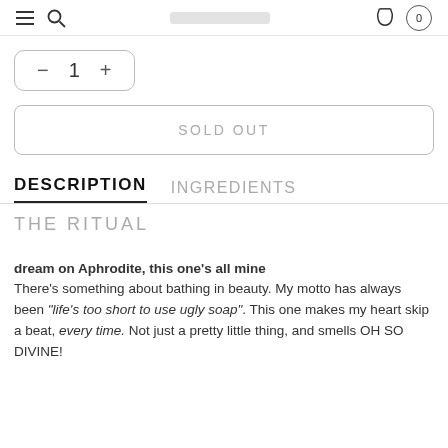Navigation header with hamburger menu, search icon, search bar, basket icon, and cart count 0
− 1 +
SOLD OUT
DESCRIPTION    INGREDIENTS
THE RITUAL
dream on Aphrodite, this one's all mine
There's something about bathing in beauty. My motto has always been "life's too short to use ugly soap". This one makes my heart skip a beat, every time. Not just a pretty little thing, and smells OH SO DIVINE!